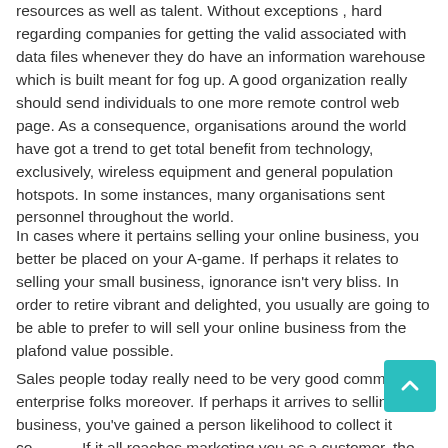resources as well as talent. Without exceptions , hard regarding companies for getting the valid associated with data files whenever they do have an information warehouse which is built meant for fog up. A good organization really should send individuals to one more remote control web page. As a consequence, organisations around the world have got a trend to get total benefit from technology, exclusively, wireless equipment and general population hotspots. In some instances, many organisations sent personnel throughout the world.
In cases where it pertains selling your online business, you better be placed on your A-game. If perhaps it relates to selling your small business, ignorance isn't very bliss. In order to retire vibrant and delighted, you usually are going to be able to prefer to will sell your online business from the plafond value possible.
Sales people today really need to be very good commercial enterprise folks moreover. If perhaps it arrives to selling your business, you've gained a person likelihood to collect it correctly. If it all reaches marketing you as a customer, the digital facts...